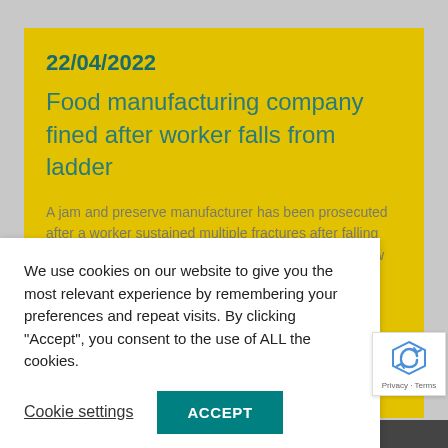22/04/2022
Food manufacturing company fined after worker falls from ladder
A jam and preserve manufacturer has been prosecuted after a worker sustained multiple fractures after falling from a ladder. Llandudno Magistrates' court heard how on the 6 April 2020, a worker was installing a security [camera at] Food [... Pwllheli, using
We use cookies on our website to give you the most relevant experience by remembering your preferences and repeat visits. By clicking “Accept”, you consent to the use of ALL the cookies.
Cookie settings
ACCEPT